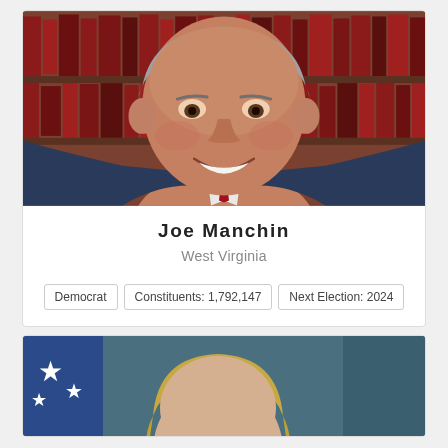[Figure (photo): Official portrait photo of Joe Manchin smiling, with bookshelves visible in the background.]
Joe Manchin
West Virginia
Democrat   Constituents: 1,792,147   Next Election: 2024
[Figure (photo): Partial official portrait photo of another senator, with an American flag visible in the background.]